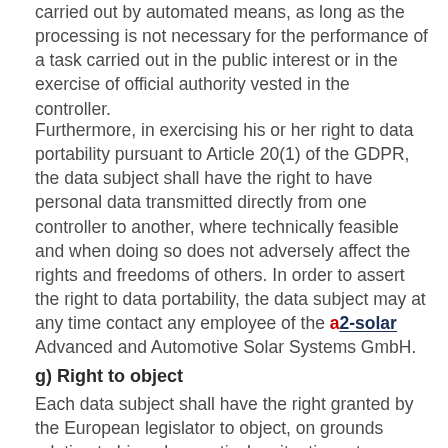carried out by automated means, as long as the processing is not necessary for the performance of a task carried out in the public interest or in the exercise of official authority vested in the controller.
Furthermore, in exercising his or her right to data portability pursuant to Article 20(1) of the GDPR, the data subject shall have the right to have personal data transmitted directly from one controller to another, where technically feasible and when doing so does not adversely affect the rights and freedoms of others. In order to assert the right to data portability, the data subject may at any time contact any employee of the a2-solar Advanced and Automotive Solar Systems GmbH.
g) Right to object
Each data subject shall have the right granted by the European legislator to object, on grounds relating to his or her particular situation, at any time, to processing of personal data concerning him or her.